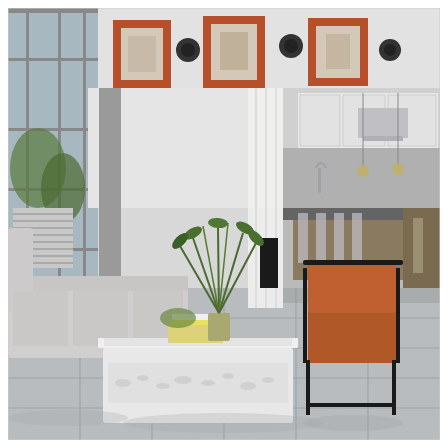[Figure (photo): Interior photograph of a modern open-plan living room and kitchen. The living area features a light grey sofa on the left, a large low white rectangular coffee table with a glass top holding potted tropical plants and books, and a cognac/burnt-orange leather lounge chair with a black metal frame on the right. The floor is covered in large-format light grey stone or porcelain tiles. In the background, an open-plan kitchen is visible with white cabinetry, a large dark island with bar stools, and stainless steel appliances. The upper walls display three terracotta-framed artworks and two round black speakers. Floor-to-ceiling windows on the left show greenery outside. White curtains hang near the kitchen entrance. The space is bright, airy, and contemporary.]